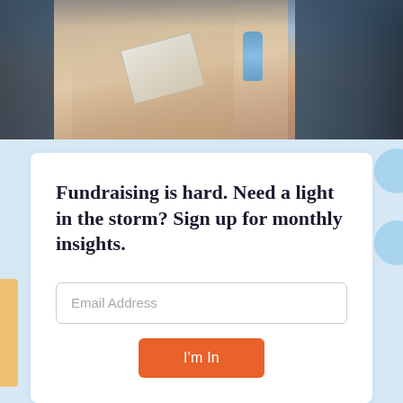[Figure (photo): Crowd of people at an outdoor event; a woman in a white tank top holds a notebook and a water bottle; other people in blue and dark clothing visible around her]
Fundraising is hard. Need a light in the storm? Sign up for monthly insights.
Email Address
I'm In